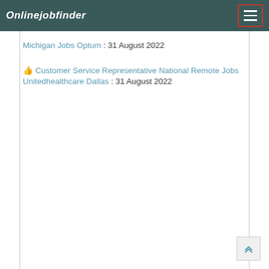Onlinejobfinder
Michigan Jobs Optum : 31 August 2022
👍 Customer Service Representative National Remote Jobs Unitedhealthcare Dallas : 31 August 2022